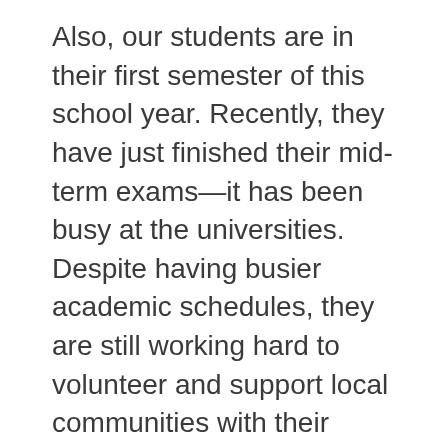Also, our students are in their first semester of this school year. Recently, they have just finished their mid-term exams—it has been busy at the universities. Despite having busier academic schedules, they are still working hard to volunteer and support local communities with their diverse skills. Su, Weh, Thel Thel and Chen have kindly shared their updates with us.
On behalf of our students and BEAM, we would like to express our deepest gratitude for your support of their educational and professional